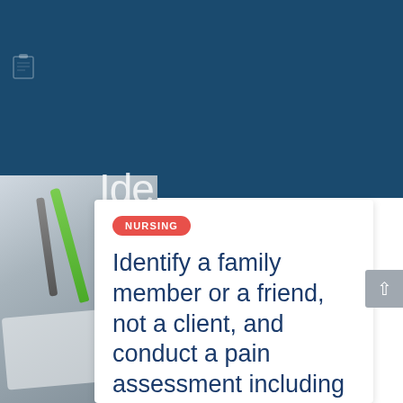[Figure (photo): Dark blue background header area with partial white large title text 'Ide...' visible, medical/office supplies photo visible on left side (green pen, clipboard icon), white card overlay in the lower right portion]
NURSING
Identify a family member or a friend, not a client, and conduct a pain assessment including the following: